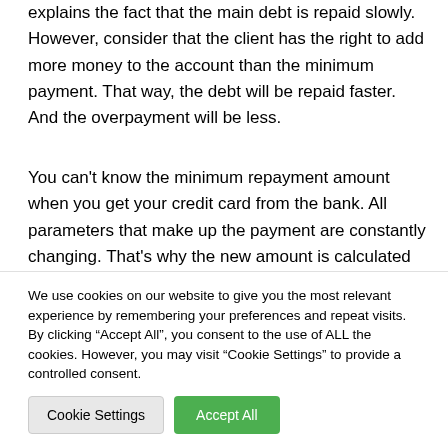explains the fact that the main debt is repaid slowly. However, consider that the client has the right to add more money to the account than the minimum payment. That way, the debt will be repaid faster. And the overpayment will be less.
You can't know the minimum repayment amount when you get your credit card from the bank. All parameters that make up the payment are constantly changing. That's why the new amount is calculated regularly. Accordingly, there is no schedule of fixed payments, as in the case of consumer
We use cookies on our website to give you the most relevant experience by remembering your preferences and repeat visits. By clicking "Accept All", you consent to the use of ALL the cookies. However, you may visit "Cookie Settings" to provide a controlled consent.